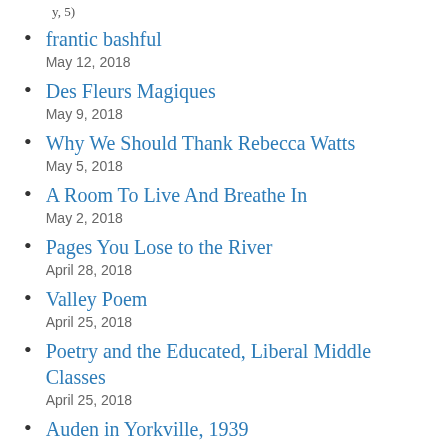frantic bashful
May 12, 2018
Des Fleurs Magiques
May 9, 2018
Why We Should Thank Rebecca Watts
May 5, 2018
A Room To Live And Breathe In
May 2, 2018
Pages You Lose to the River
April 28, 2018
Valley Poem
April 25, 2018
Poetry and the Educated, Liberal Middle Classes
April 25, 2018
Auden in Yorkville, 1939